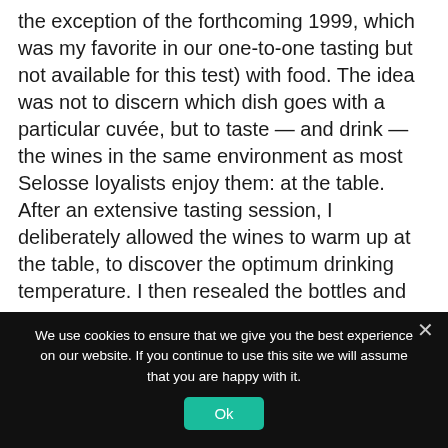the exception of the forthcoming 1999, which was my favorite in our one-to-one tasting but not available for this test) with food. The idea was not to discern which dish goes with a particular cuvée, but to taste — and drink — the wines in the same environment as most Selosse loyalists enjoy them: at the table. After an extensive tasting session, I deliberately allowed the wines to warm up at the table, to discover the optimum drinking temperature. I then resealed the bottles and repeated the process one day later, and two days after that.
We use cookies to ensure that we give you the best experience on our website. If you continue to use this site we will assume that you are happy with it.